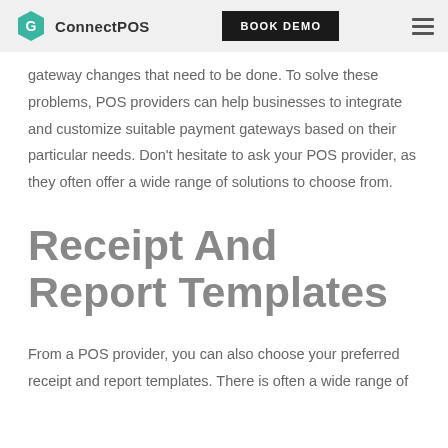ConnectPOS | BOOK DEMO
gateway changes that need to be done. To solve these problems, POS providers can help businesses to integrate and customize suitable payment gateways based on their particular needs. Don't hesitate to ask your POS provider, as they often offer a wide range of solutions to choose from.
Receipt And Report Templates
From a POS provider, you can also choose your preferred receipt and report templates. There is often a wide range of